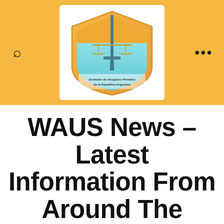[Figure (logo): Shield-shaped logo with scales of justice and a sword, text reads 'Sindicato de Abogados Privados de la República Argentina']
WAUS News – Latest Information From Around The World, as well as Damaging Information From